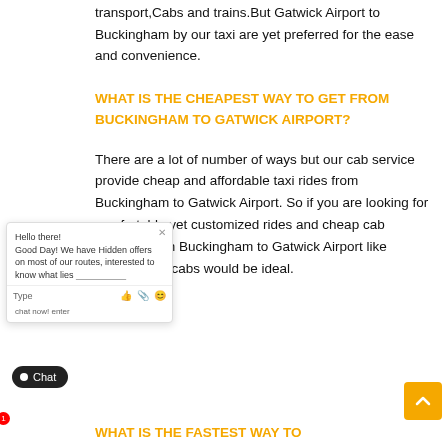transport,Cabs and trains.But Gatwick Airport to Buckingham by our taxi are yet preferred for the ease and convenience.
WHAT IS THE CHEAPEST WAY TO GET FROM BUCKINGHAM TO GATWICK AIRPORT?
There are a lot of number of ways but our cab service provide cheap and affordable taxi rides from Buckingham to Gatwick Airport. So if you are looking for comfortable yet customized rides and cheap cab services from Buckingham to Gatwick Airport like Gatwick Minicabs would be ideal.
WHAT IS THE FASTEST WAY TO